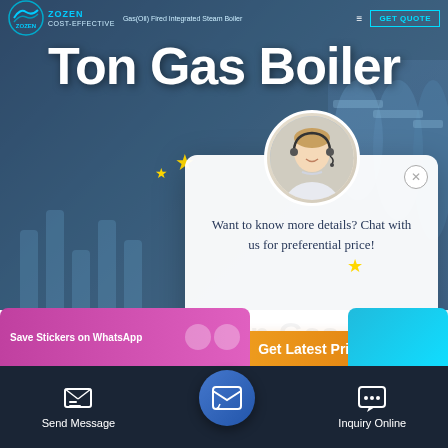[Figure (screenshot): Website screenshot showing a gas boiler product page with hero background (industrial building/boiler facility), company logo top-left, 'GET QUOTE' button top-right, large white bold title 'Ton Gas Boiler', chat support modal popup with female agent avatar wearing headset, gold stars decoration, modal text 'Want to know more details? Chat with us for preferential price!', orange 'Get Latest Price' button, partial page title 'High ... n Gas Boiler Latvia', WhatsApp sticker save popup, bottom navigation bar with Send Message, circular email/message center button, and Inquiry Online options on dark background.]
Ton Gas Boiler
Want to know more details? Chat with us for preferential price!
Get Latest Price
High ... n Gas Boiler Latvia
Save Stickers on WhatsApp
Send Message
Inquiry Online